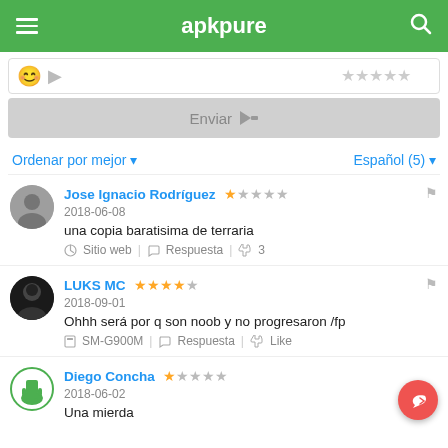apkpure
[Figure (screenshot): Emoji and media icons with empty star rating input]
Enviar →
Ordenar por mejor ▼   Español (5) ▼
Jose Ignacio Rodríguez ★☆☆☆ 2018-06-08
una copia baratisima de terraria
🌐 Sitio web | 💬 Respuesta | 👍 3
LUKS MC ★★★★☆ 2018-09-01
Ohhh será por q son noob y no progresaron /fp
☐ SM-G900M | 💬 Respuesta | 👍 Like
Diego Concha ★☆☆☆☆ 2018-06-02
Una mierda